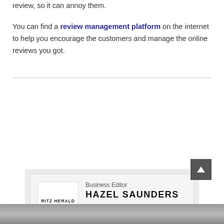review, so it can annoy them.

You can find a review management platform on the internet to help you encourage the customers and manage the online reviews you got.
[Figure (logo): Author card for Business Editor Hazel Saunders with Ritz Herald logo]
[Figure (photo): Partial photo strip at the bottom of the page]